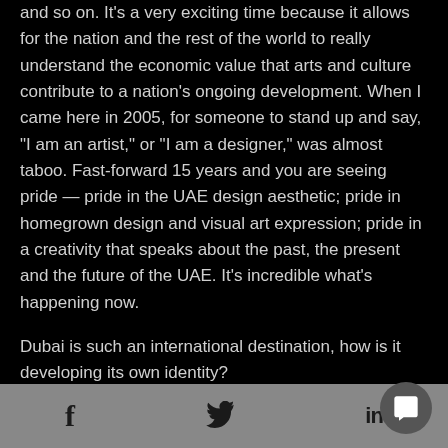and so on. It's a very exciting time because it allows for the nation and the rest of the world to really understand the economic value that arts and culture contribute to a nation's ongoing development. When I came here in 2005, for someone to stand up and say, “I am an artist,” or “I am a designer,” was almost taboo. Fast-forward 15 years and you are seeing pride — pride in the UAE design aesthetic; pride in homegrown design and visual art expression; pride in a creativity that speaks about the past, the present and the future of the UAE. It's incredible what's happening now.
Dubai is such an international destination, how is it developing its own identity?
[Figure (other): Social media footer bar with Facebook (f), Twitter (bird), LinkedIn (in) icons, and a chat bubble icon on the right]